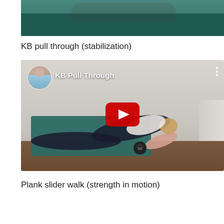[Figure (photo): Partial view of a person doing a plank exercise on a dark teal yoga mat on a wooden floor, viewed from above]
KB pull through (stabilization)
[Figure (screenshot): YouTube video thumbnail showing a woman in a high plank position on a teal yoga mat holding a 20lb kettlebell, with YouTube play button overlay and channel name 'KB Pull Through']
Plank slider walk (strength in motion)